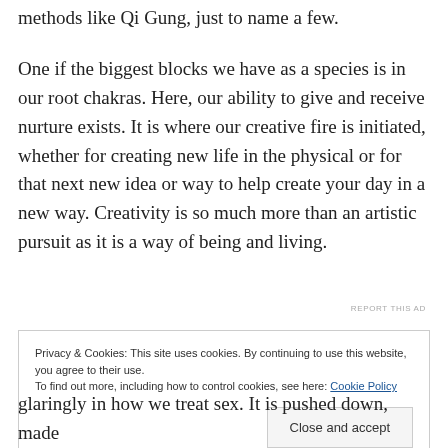methods like Qi Gung, just to name a few.
One if the biggest blocks we have as a species is in our root chakras. Here, our ability to give and receive nurture exists. It is where our creative fire is initiated, whether for creating new life in the physical or for that next new idea or way to help create your day in a new way. Creativity is so much more than an artistic pursuit as it is a way of being and living.
REPORT THIS AD
Privacy & Cookies: This site uses cookies. By continuing to use this website, you agree to their use. To find out more, including how to control cookies, see here: Cookie Policy
Close and accept
glaringly in how we treat sex. It is pushed down, made